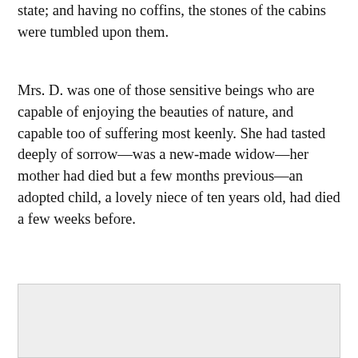state; and having no coffins, the stones of the cabins were tumbled upon them.
Mrs. D. was one of those sensitive beings who are capable of enjoying the beauties of nature, and capable too of suffering most keenly. She had tasted deeply of sorrow—was a new-made widow—her mother had died but a few months previous—an adopted child, a lovely niece of ten years old, had died a few weeks before.
[Figure (other): Light gray rectangular image placeholder at the bottom of the page.]